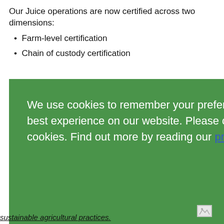Our Juice operations are now certified across two dimensions:
Farm-level certification
Chain of custody certification
[Figure (screenshot): Green cookie consent overlay banner with text: 'We use cookies to remember your preference and provide you with the very best experience on our website. Please click the button to approve our use of cookies. Find out more by reading our privacy policy.' Partial background content visible on the right side including words 'ain', 'Ve also', 'support', 'ts.' and a blue rectangle. A small broken image icon is visible in the lower portion of the green overlay.]
sustainable agricultural practices.